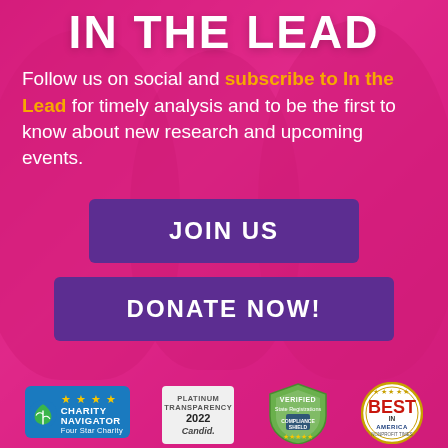IN THE LEAD
Follow us on social and subscribe to In the Lead for timely analysis and to be the first to know about new research and upcoming events.
JOIN US
DONATE NOW!
[Figure (logo): Charity Navigator Four Star Charity badge with blue background and gold stars]
[Figure (logo): Candid Platinum Transparency 2022 badge]
[Figure (logo): Verified State Registrations Compliance Shield badge]
[Figure (logo): Best in America seal circular badge]